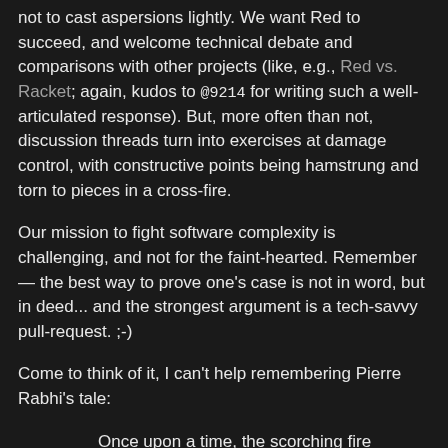not to cast aspersions lightly. We want Red to succeed, and welcome technical debate and comparisons with other projects (like, e.g., Red vs. Racket; again, kudos to @9214 for writing such a well-articulated response). But, more often than not, discussion threads turn into exercises at damage control, with constructive points being hamstrung and torn to pieces in a cross-fire.
Our mission to fight software complexity is challenging, and not for the faint-hearted. Remember — the best way to prove one's case is not in word, but in deed... and the strongest argument is a tech-savvy pull-request. ;-)
Come to think of it, I can't help remembering Pierre Rabhi's tale:
Once upon a time, the scorching fire swallowed the forest. All the animals, terrified and powerless, watched it destroying their homes from afar. Only little Hummingbird kept flying back and worth between the fire and nearby pond, carrying tiny drops of water in its beak and